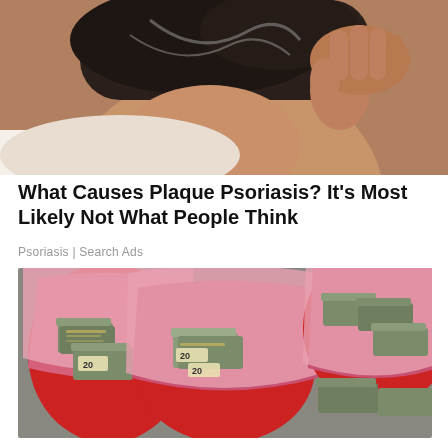[Figure (photo): Close-up of a person scratching the back of their head/neck, showing scalp psoriasis symptoms]
What Causes Plaque Psoriasis? It's Most Likely Not What People Think
Psoriasis | Search Ads
[Figure (photo): Buckets and pink bags filled with stacks of US dollar bills, representing large amounts of money]